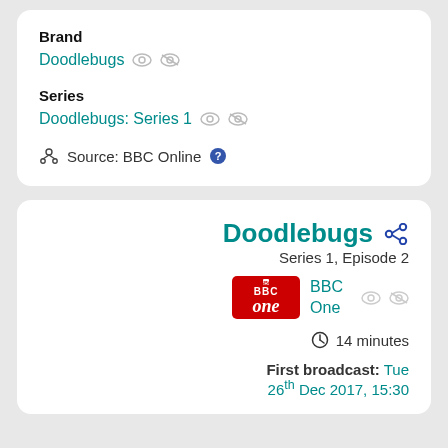Brand
Doodlebugs
Series
Doodlebugs: Series 1
Source: BBC Online
Doodlebugs
Series 1, Episode 2
BBC One
14 minutes
First broadcast: Tue 26th Dec 2017, 15:30